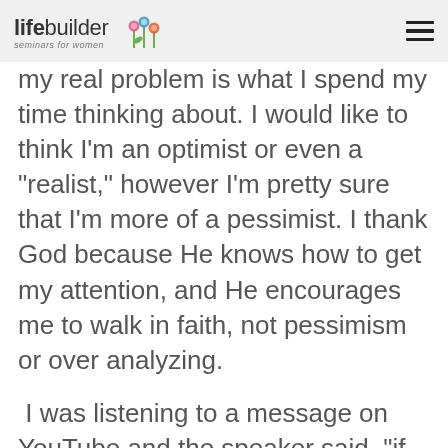lifebuilder seminars for women
my real problem is what I spend my time thinking about. I would like to think I'm an optimist or even a “realist,” however I'm pretty sure that I'm more of a pessimist. I thank God because He knows how to get my attention, and He encourages me to walk in faith, not pessimism or over analyzing.
I was listening to a message on YouTube and the speaker said, “if we really believed what we say we believe, we’d pray a lot more.” This is not an uncommon saying in the